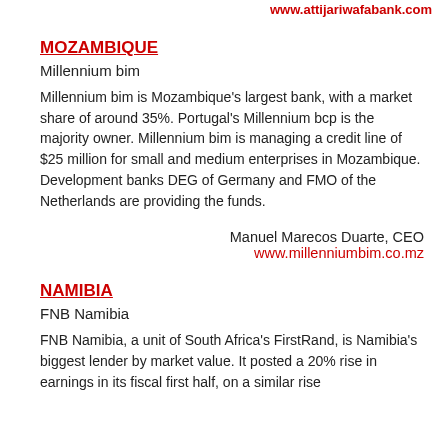www.attijariwafabank.com
MOZAMBIQUE
Millennium bim
Millennium bim is Mozambique's largest bank, with a market share of around 35%. Portugal's Millennium bcp is the majority owner. Millennium bim is managing a credit line of $25 million for small and medium enterprises in Mozambique. Development banks DEG of Germany and FMO of the Netherlands are providing the funds.
Manuel Marecos Duarte, CEO
www.millenniumbim.co.mz
NAMIBIA
FNB Namibia
FNB Namibia, a unit of South Africa's FirstRand, is Namibia's biggest lender by market value. It posted a 20% rise in earnings in its fiscal first half, on a similar rise